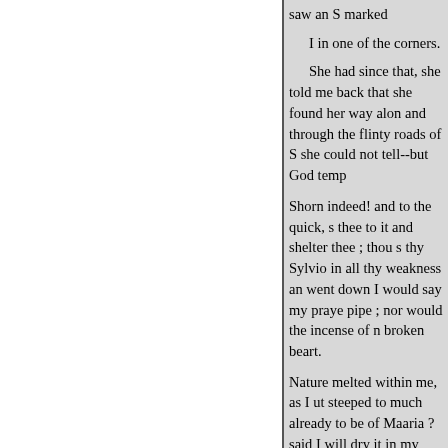saw an S marked

    I in one of the corners.

    She had since that, she told me back that she found her way along and through the flinty roads of S she could not tell--but God temp

Shorn indeed! and to the quick, s thee to it and shelter thee ; thou s thy Sylvio in all thy weakness an went down I would say my praye pipe ; nor would the incense of n broken beart.

Nature melted within me, as I ut steeped to much already to be of Maaria ? said I will dry it in my

    And is your heart still so-warm

    I touched upon the string on w ime in my face ; and then witho string I had touched ceased to vi up.

And where are you going, Maria